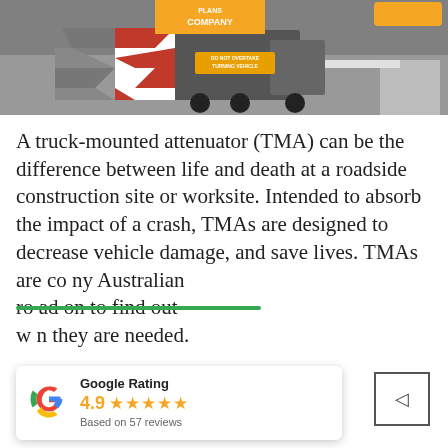[Figure (illustration): Top portion of a webpage showing a truck-mounted attenuator (TMA) vehicle illustration with red/white chevron boards, a 'DO NOT OVERTAKE TURNING VEHICLE' sign, on a grey road background. Orange 'COMPANY' header strip visible at top center, orange button at top right.]
A truck-mounted attenuator (TMA) can be the difference between life and death at a roadside construction site or worksite. Intended to absorb the impact of a crash, TMAs are designed to decrease vehicle damage, and save lives. TMAs are co[mpulsory] [by] Australian ro[ad authorities.] ad on to find out w[hen] [they are needed].
[Figure (screenshot): Google Rating popup overlay showing Google 'G' logo, rating label 'Google Rating', score '4.9', five orange stars, and text 'Based on 57 reviews'. A green bar is visible at the top of the popup area.]